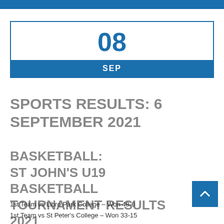08
SEP
SPORTS RESULTS: 6 SEPTEMBER 2021
BASKETBALL: ST JOHN'S U19 BASKETBALL TOURNAMENT RESULTS 2021
1st Team vs Libro Park College – Won 48-6
1st Team vs St Peter's College – Won 33-15
1st Team vs St John's College – Lost 31-35